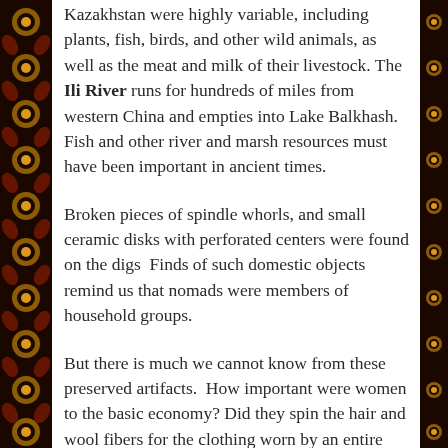Kazakhstan were highly variable, including plants, fish, birds, and other wild animals, as well as the meat and milk of their livestock. The Ili River runs for hundreds of miles from western China and empties into Lake Balkhash. Fish and other river and marsh resources must have been important in ancient times.
Broken pieces of spindle whorls, and small ceramic disks with perforated centers were found on the digs  Finds of such domestic objects remind us that nomads were members of household groups.
But there is much we cannot know from these preserved artifacts.  How important were women to the basic economy? Did they spin the hair and wool fibers for the clothing worn by an entire household?   Who made the large storage vessels, sometimes dripping them with red slip and glaze?